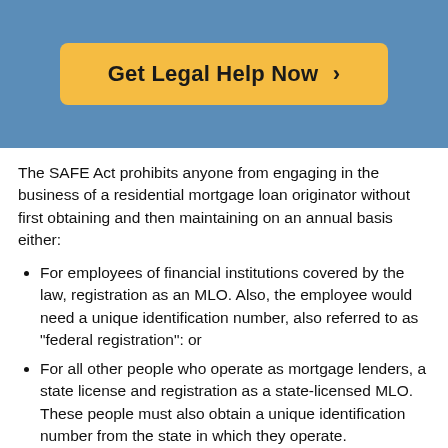[Figure (other): Yellow 'Get Legal Help Now >' button on a blue background header]
The SAFE Act prohibits anyone from engaging in the business of a residential mortgage loan originator without first obtaining and then maintaining on an annual basis either:
For employees of financial institutions covered by the law, registration as an MLO. Also, the employee would need a unique identification number, also referred to as "federal registration": or
For all other people who operate as mortgage lenders, a state license and registration as a state-licensed MLO. These people must also obtain a unique identification number from the state in which they operate.
The SAFE Act requires that registration of those who are registered through both the federal and state systems be done through the same online registration